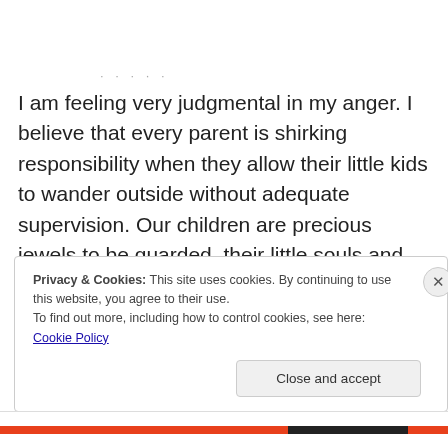I am feeling very judgmental in my anger. I believe that every parent is shirking responsibility when they allow their little kids to wander outside without adequate supervision. Our children are precious jewels to be guarded, their little souls and bodies entrusted to us to raise and form into decent human beings.
Privacy & Cookies: This site uses cookies. By continuing to use this website, you agree to their use.
To find out more, including how to control cookies, see here: Cookie Policy
Close and accept